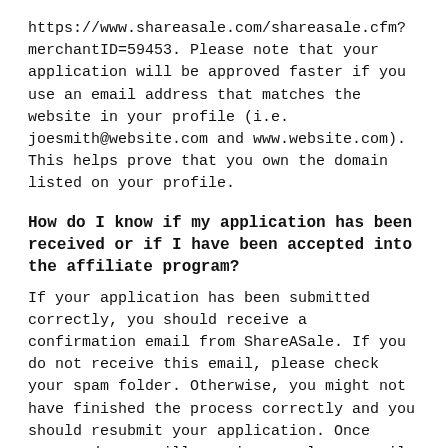https://www.shareasale.com/shareasale.cfm?merchantID=59453. Please note that your application will be approved faster if you use an email address that matches the website in your profile (i.e. joesmith@website.com and www.website.com). This helps prove that you own the domain listed on your profile.
How do I know if my application has been received or if I have been accepted into the affiliate program?
If your application has been submitted correctly, you should receive a confirmation email from ShareASale. If you do not receive this email, please check your spam folder. Otherwise, you might not have finished the process correctly and you should resubmit your application. Once approved, you will receive a welcome email from the affiliate manager.
How do I create links to CreativeLive?